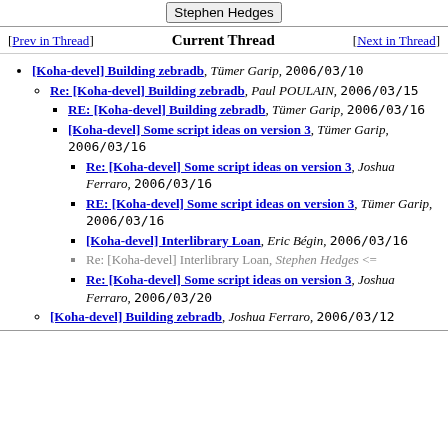Stephen Hedges
[Koha-devel] Building zebradb, Tümer Garip, 2006/03/10
Re: [Koha-devel] Building zebradb, Paul POULAIN, 2006/03/15
RE: [Koha-devel] Building zebradb, Tümer Garip, 2006/03/16
[Koha-devel] Some script ideas on version 3, Tümer Garip, 2006/03/16
Re: [Koha-devel] Some script ideas on version 3, Joshua Ferraro, 2006/03/16
RE: [Koha-devel] Some script ideas on version 3, Tümer Garip, 2006/03/16
[Koha-devel] Interlibrary Loan, Eric Bégin, 2006/03/16
Re: [Koha-devel] Interlibrary Loan, Stephen Hedges <=
Re: [Koha-devel] Some script ideas on version 3, Joshua Ferraro, 2006/03/20
[Koha-devel] Building zebradb, Joshua Ferraro, 2006/03/12